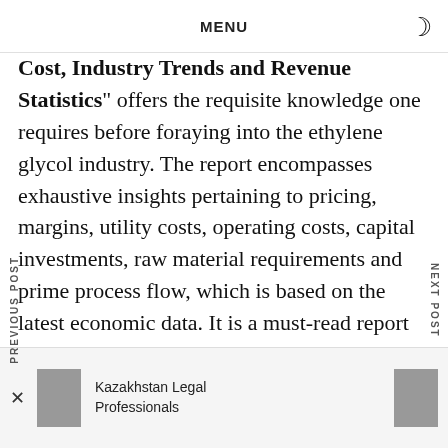MENU
Cost, Industry Trends and Revenue Statistics" offers the requisite knowledge one requires before foraying into the ethylene glycol industry. The report encompasses exhaustive insights pertaining to pricing, margins, utility costs, operating costs, capital investments, raw material requirements and prime process flow, which is based on the latest economic data. It is a must-read report for new entrants, investors, researchers, consultants and business strategists that assists them in understanding the ethylene glycol industry in a better manner to make informed business decisions.
PREVIOUS POST
NEXT POST
Kazakhstan Legal Professionals